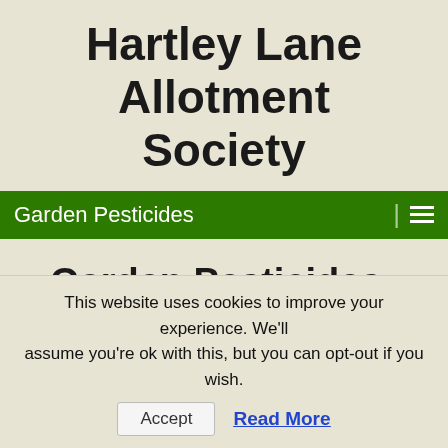Hartley Lane Allotment Society
Garden Pesticides
Garden Pesticides
[Figure (illustration): Person crouching and tending to plants in a garden, dark background]
A pesticide is a substance or mixture of substances used to kill...
This website uses cookies to improve your experience. We'll assume you're ok with this, but you can opt-out if you wish.
Accept  Read More